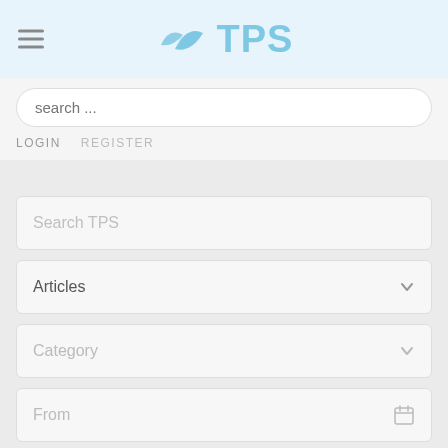[Figure (logo): TPS logo with leaf/bird icon in blue, hamburger menu icon on the left]
search ...
LOGIN   REGISTER
Search TPS
Articles
Category
From
To